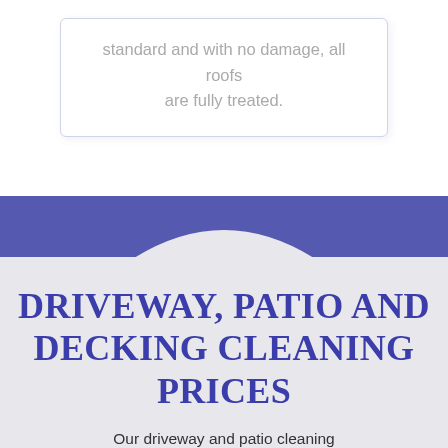standard and with no damage, all roofs are fully treated.
[Figure (illustration): Blue horizontal band with a white arch/tent shape cut out at the bottom center, creating a decorative section divider]
DRIVEWAY, PATIO AND DECKING CLEANING PRICES
Our driveway and patio cleaning